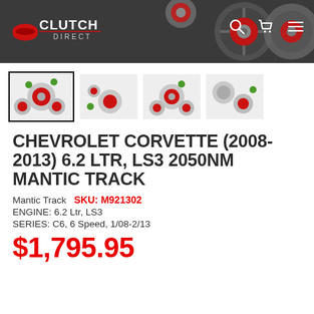Clutch Direct
[Figure (photo): Four thumbnail images of Chevrolet Corvette clutch kit components including red and silver clutch plates, flywheel, and bearing components on white background. First thumbnail is selected/highlighted with black border.]
CHEVROLET CORVETTE (2008-2013) 6.2 LTR, LS3 2050NM MANTIC TRACK
Mantic Track   SKU: M921302
ENGINE: 6.2 Ltr, LS3
SERIES: C6, 6 Speed, 1/08-2/13
$1,795.95